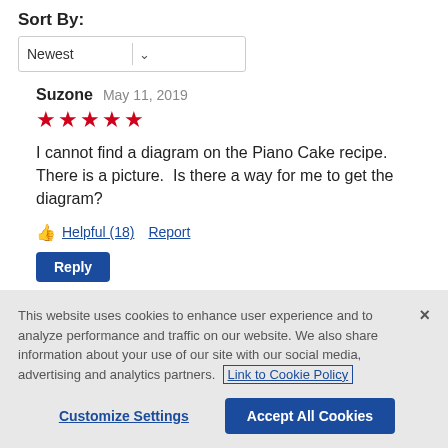Sort By:
[Figure (screenshot): Dropdown selector showing 'Newest' with chevron icon]
Suzone   May 11, 2019
[Figure (other): 5 red stars rating]
I cannot find a diagram on the Piano Cake recipe.  There is a picture.  Is there a way for me to get the diagram?
👍 Helpful (18)   Report
Reply
This website uses cookies to enhance user experience and to analyze performance and traffic on our website. We also share information about your use of our site with our social media, advertising and analytics partners.  Link to Cookie Policy
Customize Settings   Accept All Cookies